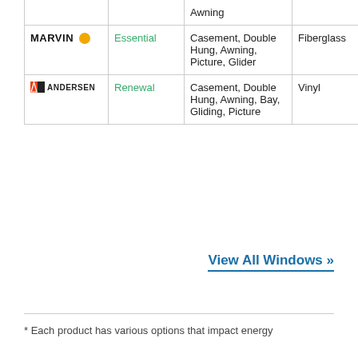| Brand | Series | Window Types | Material | Install |
| --- | --- | --- | --- | --- |
| [partial row] |  | Awning |  |  |
| MARVIN | Essential | Casement, Double Hung, Awning, Picture, Glider | Fiberglass | New |
| ANDERSEN | Renewal | Casement, Double Hung, Awning, Bay, Gliding, Picture | Vinyl | Replace |
View All Windows »
* Each product has various options that impact energy